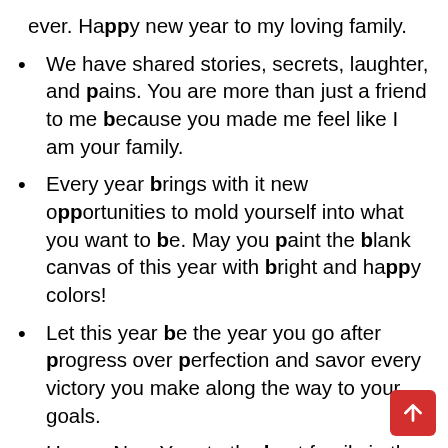ever. Happy new year to my loving family.
We have shared stories, secrets, laughter, and pains. You are more than just a friend to me because you made me feel like I am your family.
Every year brings with it new opportunities to mold yourself into what you want to be. May you paint the blank canvas of this year with bright and happy colors!
Let this year be the year you go after progress over perfection and savor every victory you make along the way to your goals.
Happy New Year to the best family in the world! I wish I could be with you right now. May this night fill your hearts with positive energy and